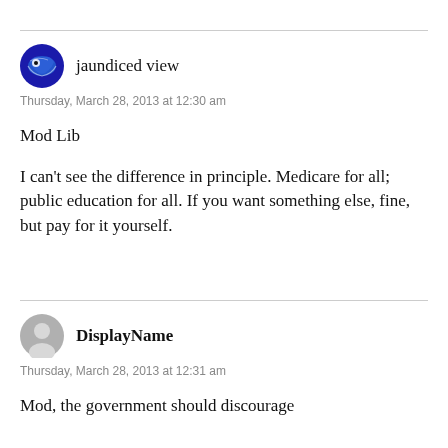jaundiced view — Thursday, March 28, 2013 at 12:30 am
Mod Lib
I can't see the difference in principle. Medicare for all; public education for all. If you want something else, fine, but pay for it yourself.
DisplayName — Thursday, March 28, 2013 at 12:31 am
Mod, the government should discourage